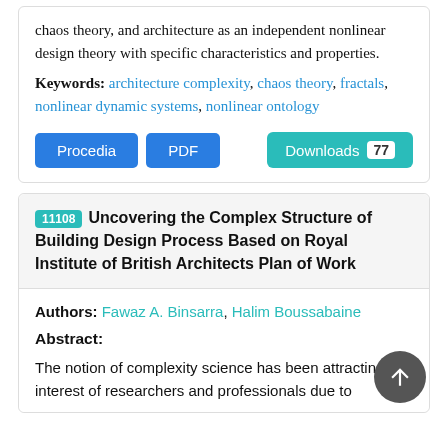chaos theory, and architecture as an independent nonlinear design theory with specific characteristics and properties.
Keywords: architecture complexity, chaos theory, fractals, nonlinear dynamic systems, nonlinear ontology
Procedia  PDF  Downloads 77
11108 Uncovering the Complex Structure of Building Design Process Based on Royal Institute of British Architects Plan of Work
Authors: Fawaz A. Binsarra, Halim Boussabaine
Abstract:
The notion of complexity science has been attracting the interest of researchers and professionals due to